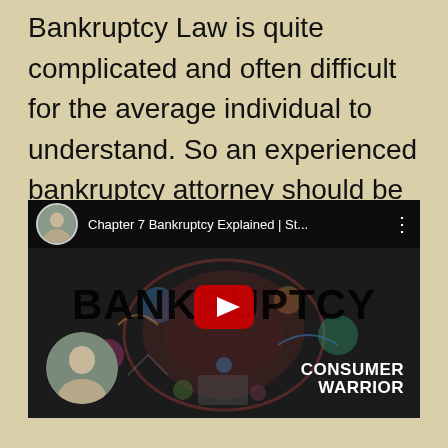Bankruptcy Law is quite complicated and often difficult for the average individual to understand. So an experienced bankruptcy attorney should be consulted to provide necessary legal assistance.
[Figure (screenshot): YouTube video thumbnail for 'Chapter 7 Bankruptcy Explained | St...' showing the word BANKRUPTCY in large bold text over a colorful illustration, with a red YouTube play button in the center, a small circular avatar of a man in the top bar, and a larger circular photo of a man in the bottom left. 'CONSUMER WARRIOR' branding appears in the bottom right.]